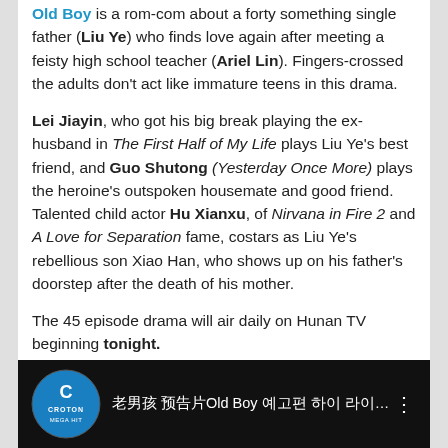Old Boy is a rom-com about a forty something single father (Liu Ye) who finds love again after meeting a feisty high school teacher (Ariel Lin). Fingers-crossed the adults don't act like immature teens in this drama.
Lei Jiayin, who got his big break playing the ex-husband in The First Half of My Life plays Liu Ye's best friend, and Guo Shutong (Yesterday Once More) plays the heroine's outspoken housemate and good friend. Talented child actor Hu Xianxu, of Nirvana in Fire 2 and A Love for Separation fame, costars as Liu Ye's rebellious son Xiao Han, who shows up on his father's doorstep after the death of his mother.
The 45 episode drama will air daily on Hunan TV beginning tonight.
More teasers: Clips 1 – 15
[Figure (screenshot): Video thumbnail with Croton Mega Hit logo on black background and Chinese text followed by 'Old Boy' and more Chinese text]